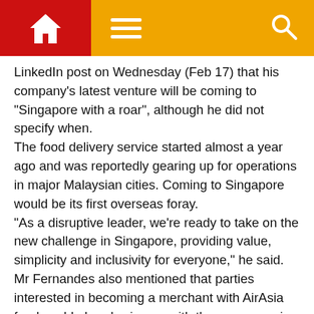Navigation bar with home icon, hamburger menu, and search icon
LinkedIn post on Wednesday (Feb 17) that his company's latest venture will be coming to “Singapore with a roar”, although he did not specify when.
The food delivery service started almost a year ago and was reportedly gearing up for operations in major Malaysian cities. Coming to Singapore would be its first overseas foray.
“As a disruptive leader, we’re ready to take on the new challenge in Singapore, providing value, simplicity and inclusivity for everyone,” he said.
Mr Fernandes also mentioned that parties interested in becoming a merchant with AirAsia food could already sign up with the company via e-mail.
AirAsia food officially began operations in May 2020. According to the carrier, it had served 500 restaurants and delivered to over 15,000 orders within the space months of